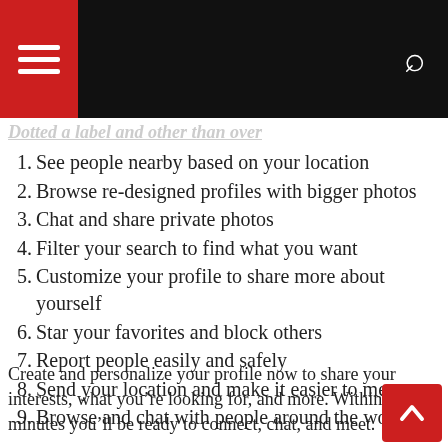[Navigation bar with menu and search]
1. See people nearby based on your location
2. Browse re-designed profiles with bigger photos
3. Chat and share private photos
4. Filter your search to find what you want
5. Customize your profile to share more about yourself
6. Star your favorites and block others
7. Report people easily and safely
8. Send your location and make it easier to meet
9. Browse and chat with people around the world
Create and personalize your profile now to share your interests, what you’re looking for, and more. Within minutes you’ll be ready to connect, chat, and meet.